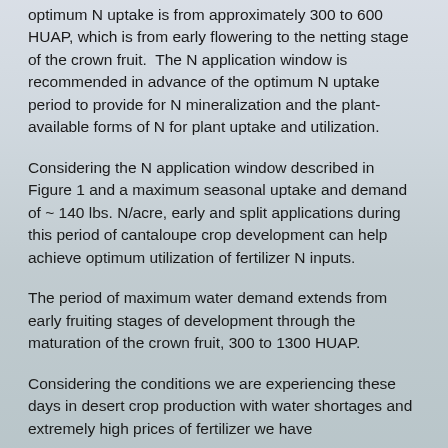optimum N uptake is from approximately 300 to 600 HUAP, which is from early flowering to the netting stage of the crown fruit.  The N application window is recommended in advance of the optimum N uptake period to provide for N mineralization and the plant-available forms of N for plant uptake and utilization.
Considering the N application window described in Figure 1 and a maximum seasonal uptake and demand of ~ 140 lbs. N/acre, early and split applications during this period of cantaloupe crop development can help achieve optimum utilization of fertilizer N inputs.
The period of maximum water demand extends from early fruiting stages of development through the maturation of the crown fruit, 300 to 1300 HUAP.
Considering the conditions we are experiencing these days in desert crop production with water shortages and extremely high prices of fertilizer, we have...